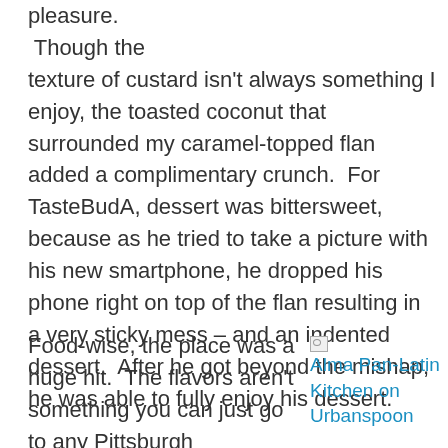pleasure.  Though the texture of custard isn't always something I enjoy, the toasted coconut that surrounded my caramel-topped flan added a complimentary crunch.  For TasteBudA, dessert was bittersweet, because as he tried to take a picture with his new smartphone, he dropped his phone right on top of the flan resulting in a very sticky mess – and an indented dessert.  After he got beyond the mishap, he was able to fully enjoy his dessert.
Food-wise, the place was a huge hit.  The flavors aren't something you can just go to any Pittsburgh
[Figure (other): Broken image placeholder linking to Alma Pan-Latin Kitchen on Urbanspoon]